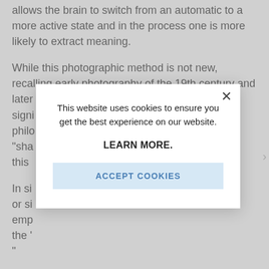allows the brain to switch from an automatic to a more active state and in the process one is more likely to extract meaning.

While this photographic method is not new, recalling early photography of the 19th century and later... signi... philo... "sha... this...

In si... or si... emp... the "... "
[Figure (screenshot): Cookie consent modal dialog overlaying article text. Modal contains: close button (×), text 'This website uses cookies to ensure you get the best experience on our website.', bold link 'LEARN MORE.', and a light blue 'ACCEPT COOKIES' button.]